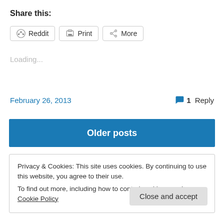Share this:
Reddit  Print  More
Loading...
February 26, 2013   1 Reply
Older posts
Privacy & Cookies: This site uses cookies. By continuing to use this website, you agree to their use.
To find out more, including how to control cookies, see here: Cookie Policy
Close and accept